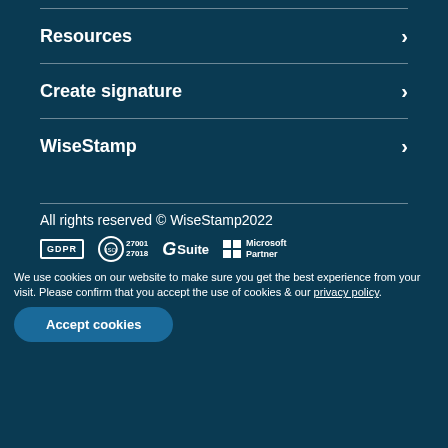Resources
Create signature
WiseStamp
All rights reserved © WiseStamp2022
[Figure (logo): GDPR badge, ISO 27001 27018 badge, G Suite badge, Microsoft Partner badge]
We use cookies on our website to make sure you get the best experience from your visit. Please confirm that you accept the use of cookies & our privacy policy.
Accept cookies